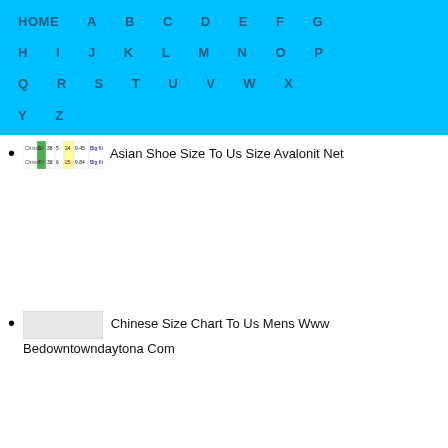HOME A B C D E F G H I J K L M N O P Q R S T U V W X Y Z
Asian Shoe Size To Us Size Avalonit Net
Chinese Size Chart To Us Mens Www Bedowntowndaytona Com